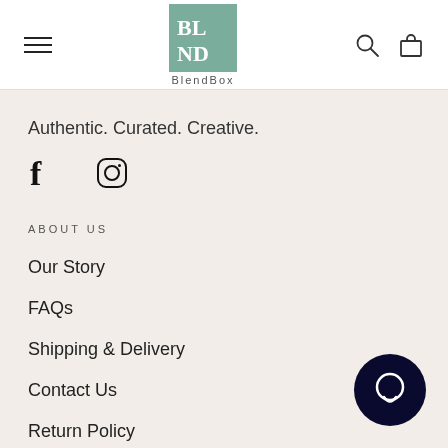[Figure (logo): BlendBox logo: teal/green square with BL ND text in white, BlendBox written below]
Authentic. Curated. Creative.
[Figure (infographic): Facebook and Instagram social media icons]
ABOUT US
Our Story
FAQs
Shipping & Delivery
Contact Us
Return Policy